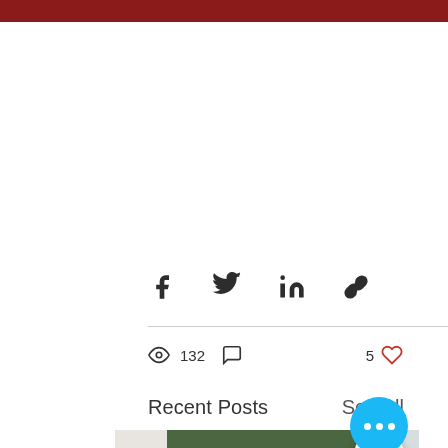[Figure (screenshot): Dark red bar at top of page (website header bar)]
[Figure (infographic): Social sharing icons: Facebook, Twitter, LinkedIn, Link/chain icon]
132 views, 0 comments, 5 likes
Recent Posts
See All
[Figure (photo): Photo of a smiling Asian woman with short dark hair wearing a grey blazer and beaded necklace, standing in front of an open agricultural field. Partially cropped thumbnail images visible on left and right sides.]